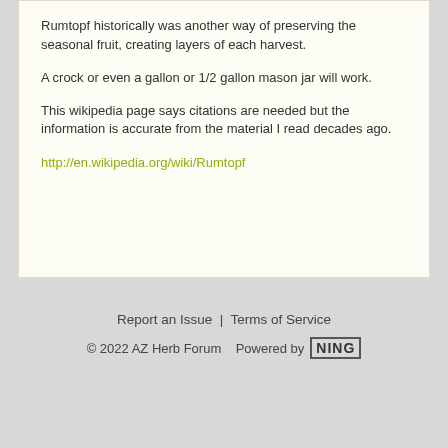Rumtopf historically was another way of preserving the seasonal fruit, creating layers of each harvest.
A crock or even a gallon or 1/2 gallon mason jar will work.
This wikipedia page says citations are needed but the information is accurate from the material I read decades ago.
http://en.wikipedia.org/wiki/Rumtopf
Report an Issue  |  Terms of Service
© 2022 AZ Herb Forum   Powered by NING